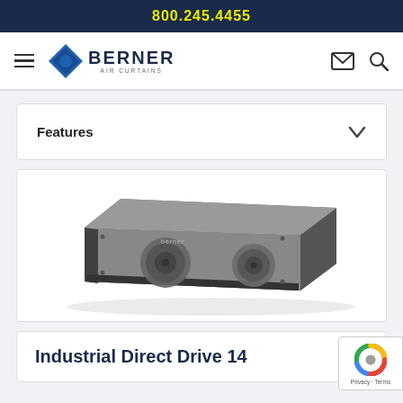800.245.4455
[Figure (logo): Berner Air Curtains logo with blue diamond and company name]
Features
[Figure (photo): Industrial Direct Drive 14 air curtain unit, a rectangular gray metal unit shown at an angle]
Industrial Direct Drive 14